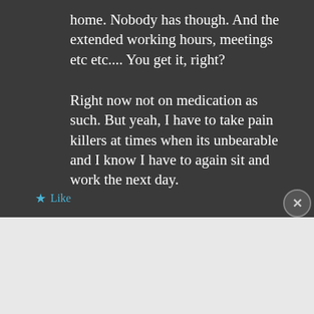home. Nobody has though. And the extended working hours, meetings etc etc.... You get it, right?
Right now not on medication as such. But yeah, I have to take pain killers at times when its unbearable and I know I have to again sit and work the next day.
★ Like
Advertisements
[Figure (screenshot): DuckDuckGo advertisement banner with orange background. Text: 'Search, browse, and email with more privacy. All in One Free App'. Shows a phone mockup with DuckDuckGo logo and branding.]